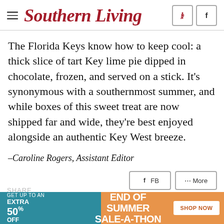Southern Living
The Florida Keys know how to keep cool: a thick slice of tart Key lime pie dipped in chocolate, frozen, and served on a stick. It’s synonymous with a southernmost summer, and while boxes of this sweet treat are now shipped far and wide, they’re best enjoyed alongside an authentic Key West breeze.
– Caroline Rogers, Assistant Editor
[Figure (screenshot): Advertisement banner: GET UP TO AN EXTRA 50% OFF | END OF SUMMER SALE-A-THON | SHOP NOW]